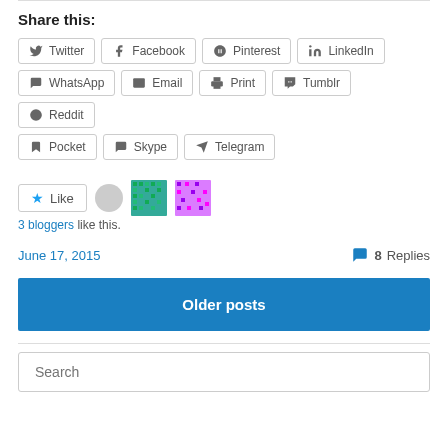Share this:
Twitter
Facebook
Pinterest
LinkedIn
WhatsApp
Email
Print
Tumblr
Reddit
Pocket
Skype
Telegram
Like
3 bloggers like this.
June 17, 2015
8 Replies
Older posts
Search